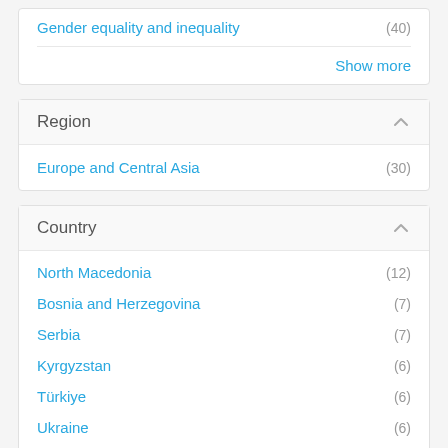Gender equality and inequality (40)
Show more
Region
Europe and Central Asia (30)
Country
North Macedonia (12)
Bosnia and Herzegovina (7)
Serbia (7)
Kyrgyzstan (6)
Türkiye (6)
Ukraine (6)
Kazakhstan (5)
Albania (4)